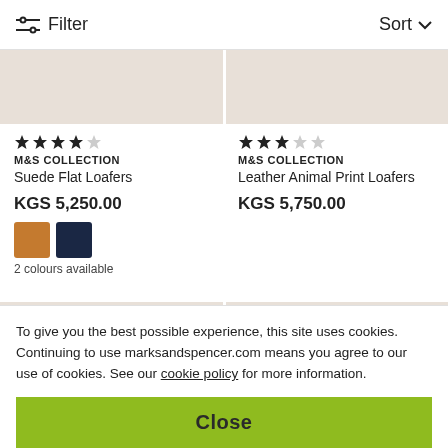Filter | Sort
[Figure (photo): Two product images showing loafer shoes on beige background — left: Suede Flat Loafers, right: Leather Animal Print Loafers]
★★★★☆ M&S COLLECTION Suede Flat Loafers KGS 5,250.00 2 colours available
★★★☆☆ M&S COLLECTION Leather Animal Print Loafers KGS 5,750.00
[Figure (photo): Two partially visible product images at bottom — loafer shoes on beige background]
To give you the best possible experience, this site uses cookies. Continuing to use marksandspencer.com means you agree to our use of cookies. See our cookie policy for more information.
Close